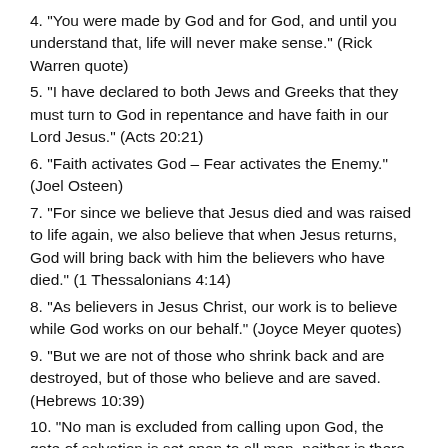4. "You were made by God and for God, and until you understand that, life will never make sense." (Rick Warren quote)
5. "I have declared to both Jews and Greeks that they must turn to God in repentance and have faith in our Lord Jesus." (Acts 20:21)
6. "Faith activates God – Fear activates the Enemy." (Joel Osteen)
7. "For since we believe that Jesus died and was raised to life again, we also believe that when Jesus returns, God will bring back with him the believers who have died." (1 Thessalonians 4:14)
8. "As believers in Jesus Christ, our work is to believe while God works on our behalf." (Joyce Meyer quotes)
9. "But we are not of those who shrink back and are destroyed, but of those who believe and are saved. (Hebrews 10:39)
10. "No man is excluded from calling upon God, the gate of salvation is set open to all men, neither is there any other thing which keepeth us back from...